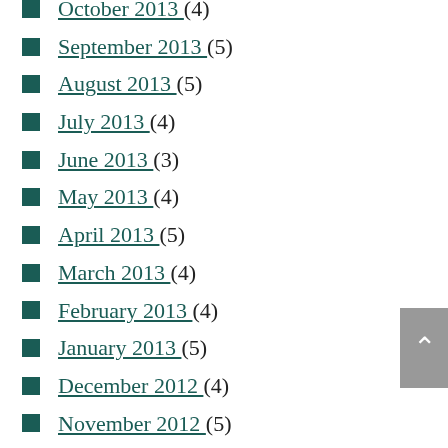October 2013 (4)
September 2013 (5)
August 2013 (5)
July 2013 (4)
June 2013 (3)
May 2013 (4)
April 2013 (5)
March 2013 (4)
February 2013 (4)
January 2013 (5)
December 2012 (4)
November 2012 (5)
October 2012 (4)
September 2012 (4)